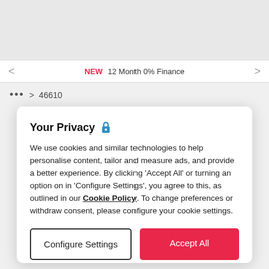[Figure (screenshot): Gray top area of a website/app header]
< NEW 12 Month 0% Finance >
••• > 46610
Omega
Your Privacy 🔒
We use cookies and similar technologies to help personalise content, tailor and measure ads, and provide a better experience. By clicking 'Accept All' or turning an option on in 'Configure Settings', you agree to this, as outlined in our Cookie Policy. To change preferences or withdraw consent, please configure your cookie settings.
Configure Settings
Accept All